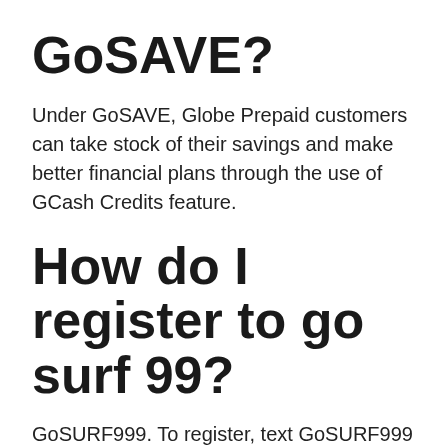GoSAVE?
Under GoSAVE, Globe Prepaid customers can take stock of their savings and make better financial plans through the use of GCash Credits feature.
How do I register to go surf 99?
GoSURF999. To register, text GoSURF999 to 8080 or dial *143# and choose GoSURF.
Is GOSAKTO90 same as